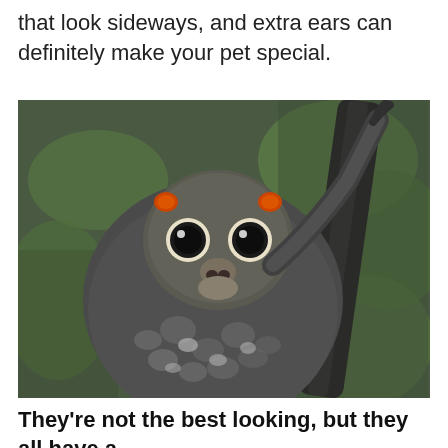that look sideways, and extra ears can definitely make your pet special.
[Figure (photo): Close-up photo of a colugo (flying lemur) clinging to a moss-covered tree trunk, facing the camera with large dark eyes and small orange ear tufts, with its gliding membrane visible.]
They're not the best looking, but they all have a